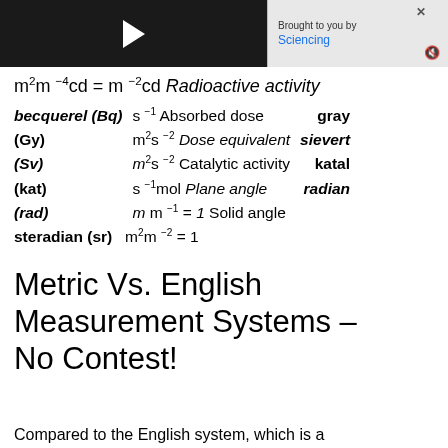[Figure (screenshot): Video player thumbnail with play button, dark background, approximately 267px wide]
Brought to you by Sciencing (advertisement overlay)
becquerel (Bq)   s−1 Absorbed dose   gray (Gy)   m2s−2 Dose equivalent   sievert (Sv)   m2s−2 Catalytic activity   katal (kat)   s−1 mol Plane angle   radian (rad)   m m−1 = 1 Solid angle   steradian (sr)   m2m−2 = 1
Metric Vs. English Measurement Systems – No Contest!
Compared to the English system, which is a